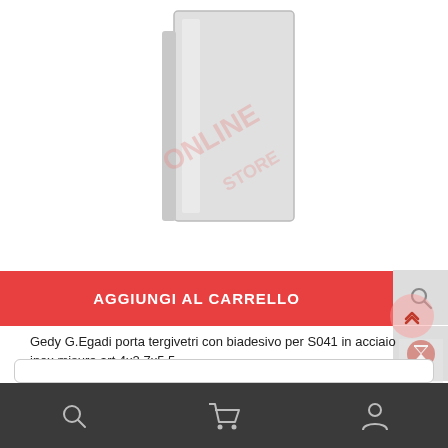[Figure (photo): Product photo of a rectangular stainless steel wiper holder/bracket on white background with watermark]
[Figure (other): Add to cart button (red) with text AGGIUNGI AL CARRELLO]
Gedy G.Egadi porta tergivetri con biadesivo per S041 in acciaio inox misure art 4x2,7x5,5
cod. GY000050271300000
€ 15,03
Bottom navigation bar with search, cart, and user icons